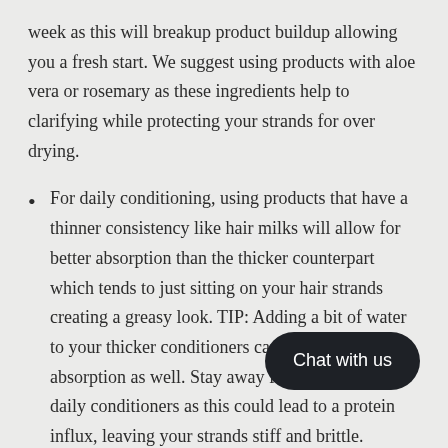week as this will breakup product buildup allowing you a fresh start. We suggest using products with aloe vera or rosemary as these ingredients help to clarifying while protecting your strands for over drying.
For daily conditioning, using products that have a thinner consistency like hair milks will allow for better absorption than the thicker counterpart which tends to just sitting on your hair strands creating a greasy look. TIP: Adding a bit of water to your thicker conditioners can help with absorption as well. Stay away from protein rich daily conditioners as this could lead to a protein influx, leaving your strands stiff and brittle.
If your hair is feeling dryer than nor… suggest using a deep conditioner … strengthen your strands. Adding a bit of heat can open …